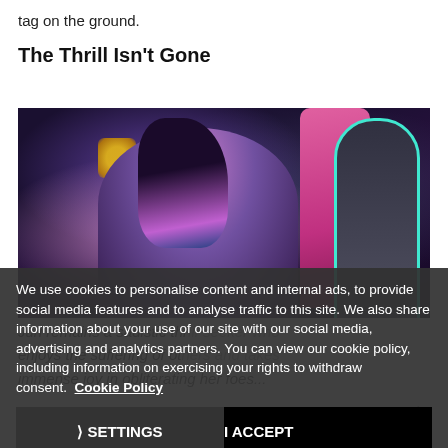tag on the ground.
The Thrill Isn't Gone
[Figure (screenshot): Screenshot from a video game showing a female character with purple/pink hair in a dark stylized environment with glowing cyan zipper design on right side and warm lamp lights in background]
We use cookies to personalise content and internal ads, to provide social media features and to analyse traffic to this site. We also share information about your use of our site with our social media, advertising and analytics partners. You can view our cookie policy, including information on exercising your rights to withdraw consent. Cookie Policy
Juri remains a sadistic thrill-seeker who enjoys the suffering of others and takes immense joy in obliterating her foes...